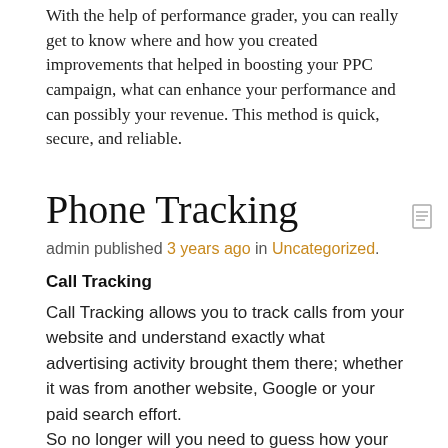With the help of performance grader, you can really get to know where and how you created improvements that helped in boosting your PPC campaign, what can enhance your performance and can possibly your revenue. This method is quick, secure, and reliable.
Phone Tracking
admin published 3 years ago in Uncategorized.
Call Tracking
Call Tracking allows you to track calls from your website and understand exactly what advertising activity brought them there; whether it was from another website, Google or your paid search effort.
So no longer will you need to guess how your caller has discovered you.
Telephone monitoring is an essential tool for any